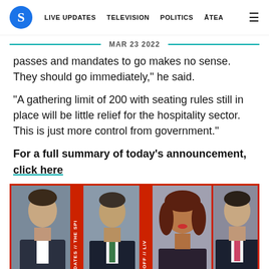S | LIVE UPDATES | TELEVISION | POLITICS | ĀTEA
MAR 23 2022
passes and mandates to go makes no sense. They should go immediately," he said.
"A gathering limit of 200 with seating rules still in place will be little relief for the hospitality sector. This is just more control from government."
For a full summary of today's announcement, click here
[Figure (photo): Four politicians photographed together with The Spinoff Live Updates banner overlaid]